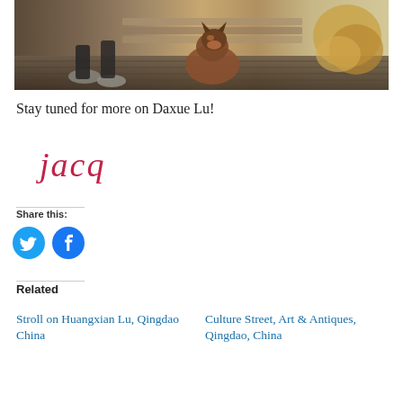[Figure (photo): Photo of a person sitting with a German Shepherd dog on a wooden deck with autumn leaves in the background]
Stay tuned for more on Daxue Lu!
[Figure (illustration): Handwritten cursive signature reading 'jacq' in red/crimson ink]
Share this:
[Figure (infographic): Twitter and Facebook share icons (blue circles with white logos)]
Related
Stroll on Huangxian Lu, Qingdao China
Culture Street, Art & Antiques, Qingdao, China